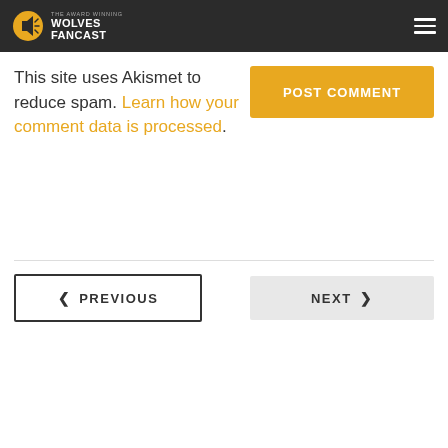THE AWARD WINNING WOLVES FANCAST
This site uses Akismet to reduce spam. Learn how your comment data is processed.
POST COMMENT
‹ PREVIOUS
NEXT ›